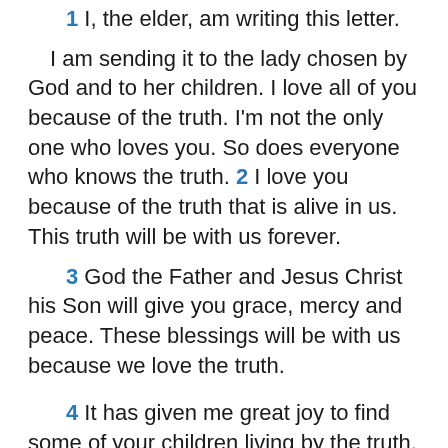1 I, the elder, am writing this letter. I am sending it to the lady chosen by God and to her children. I love all of you because of the truth. I'm not the only one who loves you. So does everyone who knows the truth. 2 I love you because of the truth that is alive in us. This truth will be with us forever.
3 God the Father and Jesus Christ his Son will give you grace, mercy and peace. These blessings will be with us because we love the truth.
4 It has given me great joy to find some of your children living by the truth. That's just what the Father commanded us to do. 5 Dear lady, I'm not writing you a new command. I'm writing a command we've had from the beginning. I'm asking that we love one another. 6 The way we show our love is to obey God's commands. He commands you to lead a life of love. That's what you have heard from the